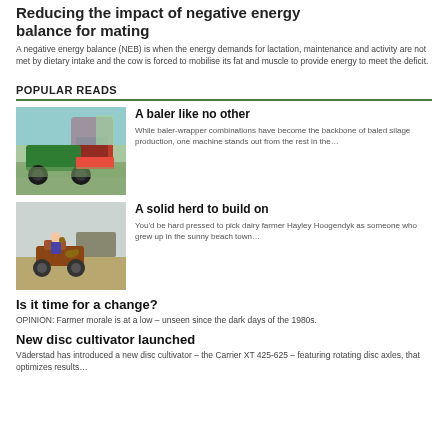Reducing the impact of negative energy balance for mating
A negative energy balance (NEB) is when the energy demands for lactation, maintenance and activity are not met by dietary intake and the cow is forced to mobilise its fat and muscle to provide energy to meet the deficit.
POPULAR READS
[Figure (photo): A baler-wrapper machine (green tractor with red baler) in a field]
A baler like no other
While baler-wrapper combinations have become the backbone of baled silage production, one machine stands out from the rest in the…
[Figure (photo): A farmer on an ATV/quad bike in a field with a dog]
A solid herd to build on
You'd be hard pressed to pick dairy farmer Hayley Hoogendyk as someone who grew up in the sunny beach town…
Is it time for a change?
OPINION: Farmer morale is at a low – unseen since the dark days of the 1980s.
New disc cultivator launched
Väderstad has introduced a new disc cultivator – the Carrier XT 425-625 – featuring rotating disc axles, that optimizes results…